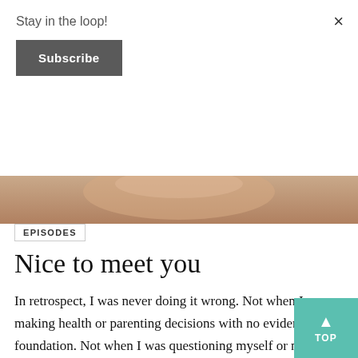Stay in the loop!
Subscribe
[Figure (photo): Partial photo of a person, cropped, showing warm skin tones]
EPISODES
Nice to meet you
In retrospect, I was never doing it wrong. Not when I was making health or parenting decisions with no evidentiary foundation. Not when I was questioning myself or my choices. Not even when I shut out my instincts and over-informed myself. This was journey. This is how I learned who I am as a m and what matters to me. This is how I learned who